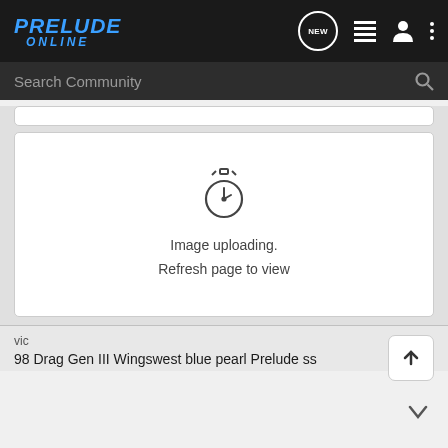[Figure (screenshot): Prelude Online community website navigation bar with blue italic logo text reading PRELUDE ONLINE, and nav icons: NEW bubble, list icon, user icon, three dots menu]
[Figure (screenshot): Dark search bar with placeholder text Search Community and magnifying glass icon]
[Figure (screenshot): White card showing image upload pending state with stopwatch icon and text: Image uploading. Refresh page to view]
vic
98 Drag Gen III Wingswest blue pearl Prelude ss